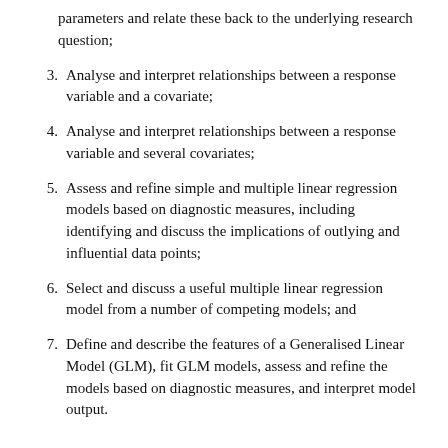parameters and relate these back to the underlying research question;
3. Analyse and interpret relationships between a response variable and a covariate;
4. Analyse and interpret relationships between a response variable and several covariates;
5. Assess and refine simple and multiple linear regression models based on diagnostic measures, including identifying and discuss the implications of outlying and influential data points;
6. Select and discuss a useful multiple linear regression model from a number of competing models; and
7. Define and describe the features of a Generalised Linear Model (GLM), fit GLM models, assess and refine the models based on diagnostic measures, and interpret model output.